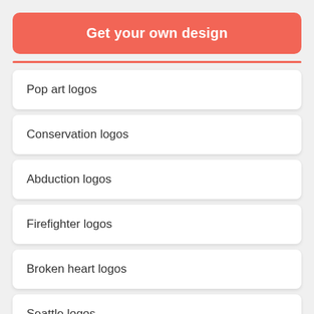Get your own design
Pop art logos
Conservation logos
Abduction logos
Firefighter logos
Broken heart logos
Seattle logos